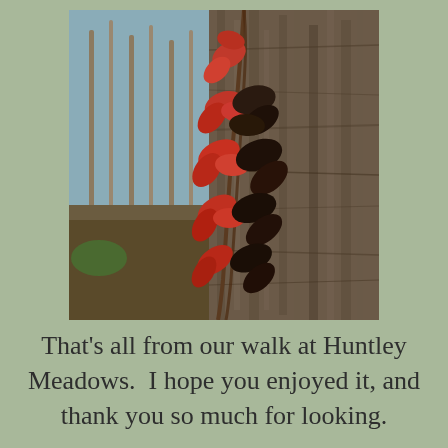[Figure (photo): Close-up photograph of a large tree trunk with red-leafed vines climbing up it, set against a background of bare winter trees and blue sky at Huntley Meadows.]
That's all from our walk at Huntley Meadows.  I hope you enjoyed it, and thank you so much for looking.